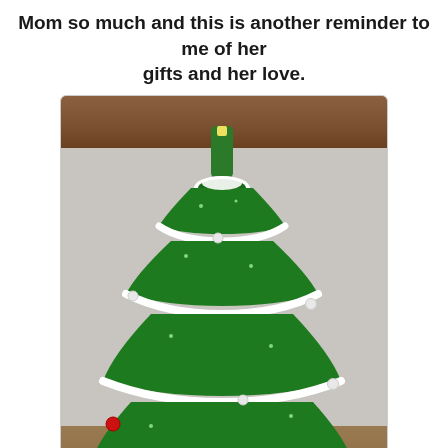Mom so much and this is another reminder to me of her gifts and her love.
[Figure (photo): A crocheted green and white Christmas tree decoration with multiple tiers, white trim on each layer, small pearl/bead ornaments, a red bead near the bottom, and a green candle-like topper. The tree sits on a wooden table surface with a wooden rail visible in the background.]